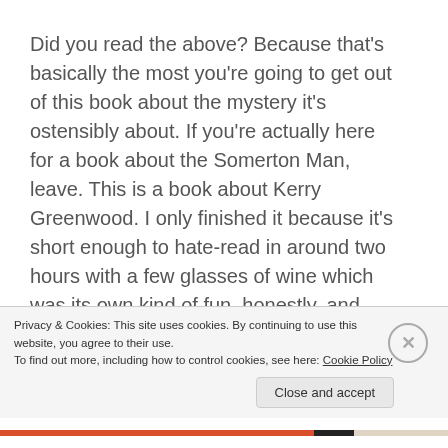Did you read the above? Because that's basically the most you're going to get out of this book about the mystery it's ostensibly about. If you're actually here for a book about the Somerton Man, leave. This is a book about Kerry Greenwood. I only finished it because it's short enough to hate-read in around two hours with a few glasses of wine which was its own kind of fun, honestly, and possible as long as you skim longer sections that were straight-up memoir.
But in addition to being a rather narcissistic bait and switch...
Privacy & Cookies: This site uses cookies. By continuing to use this website, you agree to their use.
To find out more, including how to control cookies, see here: Cookie Policy